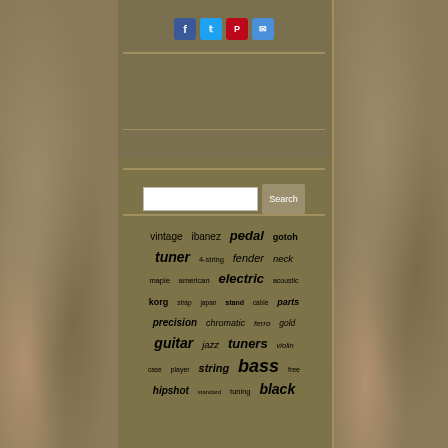[Figure (screenshot): Website tag cloud / search page for guitar-related items. Rocky stone texture background with olive/tan center panel. Social share buttons (Facebook, Twitter, Pinterest, Email) at top, search bar with Search button, then a word cloud of music/guitar related tags in various sizes.]
vintage ibanez pedal gotoh tuner 4-string fender neck maple american electric acoustic korg strap japan stand cable parts precision chromatic ferro gold guitar jazz tuners violin case player string bass free hipshot standard tuning black